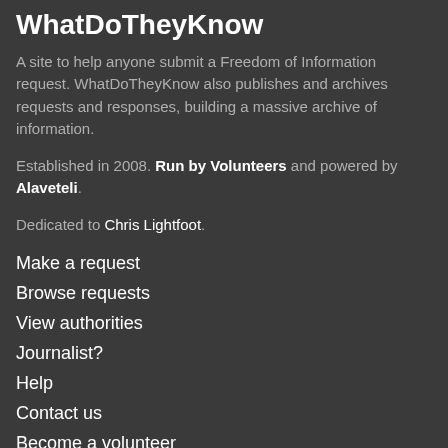WhatDoTheyKnow
A site to help anyone submit a Freedom of Information request. WhatDoTheyKnow also publishes and archives requests and responses, building a massive archive of information.
Established in 2008. Run by Volunteers and powered by Alaveteli.
Dedicated to Chris Lightfoot.
Make a request
Browse requests
View authorities
Journalist?
Help
Contact us
Become a volunteer
House rules